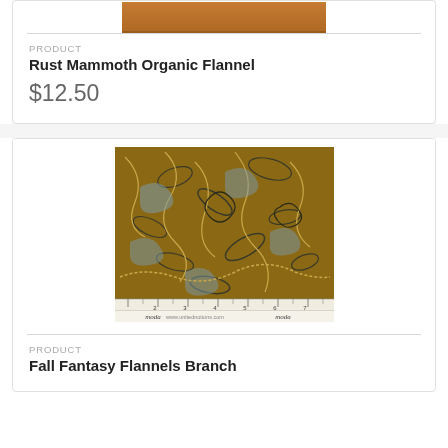[Figure (photo): Rust/brown color swatch for Mammoth Organic Flannel fabric (partial, top of page)]
PRODUCT
Rust Mammoth Organic Flannel
$12.50
[Figure (photo): Brown fabric with leaf/vine pattern (Fall Fantasy Flannels Branch), with ruler showing inches 1-7 along bottom, Moda branding]
PRODUCT
Fall Fantasy Flannels Branch